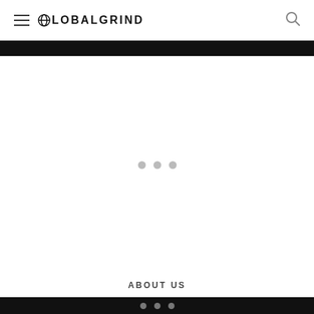GLOBALGRIND
[Figure (screenshot): Loading spinner area with three gray dots centered in a large white content area]
ABOUT US
• • •